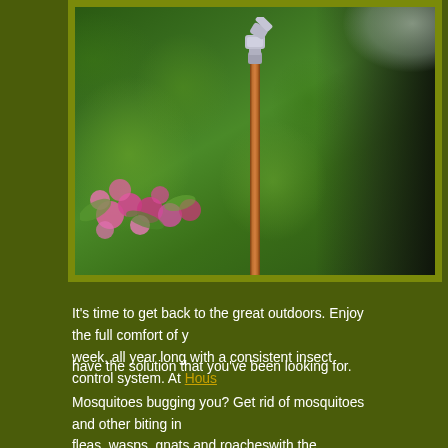[Figure (photo): A mosquito misting system nozzle on a copper pole mounted outdoors among green foliage and pink flowers, with a spray mist visible in the upper right corner]
It's time to get back to the great outdoors. Enjoy the full comfort of your outdoor living space every day of the week, all year long with a consistent insect control system. At Hous[ton Mist Away], we have the solution that you've been looking for.
Mosquitoes bugging you? Get rid of mosquitoes and other biting insects including ticks, fleas, wasps, gnats and roacheswith the Mosquitos Mist Away System. The Mist Away System aids in the control diseases carried by insects and para...